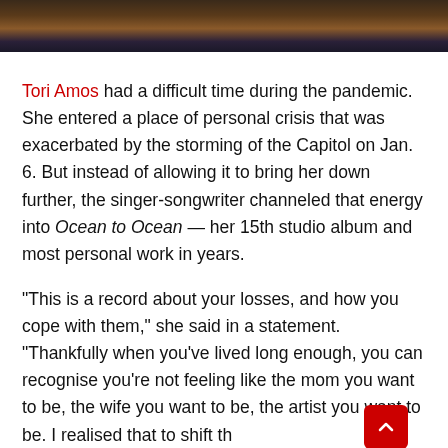[Figure (photo): Top portion of photo showing Tori Amos with dark/reddish hair against dark background, only hair and top of head visible]
Tori Amos had a difficult time during the pandemic. She entered a place of personal crisis that was exacerbated by the storming of the Capitol on Jan. 6. But instead of allowing it to bring her down further, the singer-songwriter channeled that energy into Ocean to Ocean — her 15th studio album and most personal work in years.
“This is a record about your losses, and how you cope with them,” she said in a statement. “Thankfully when you’ve lived long enough, you can recognise you’re not feeling like the mom you want to be, the wife you want to be, the artist you want to be. I realised that to shift th you have to write from the place where you are. I was in